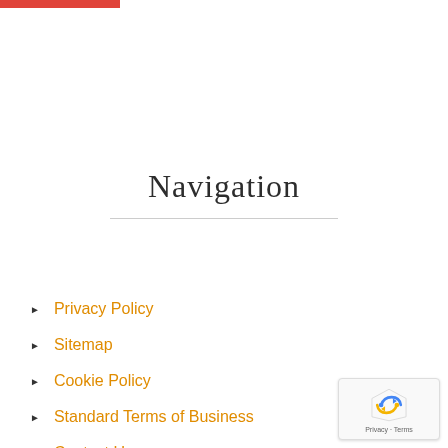[Figure (other): Red horizontal bar at top left corner of page]
Navigation
Privacy Policy
Sitemap
Cookie Policy
Standard Terms of Business
Contact Us